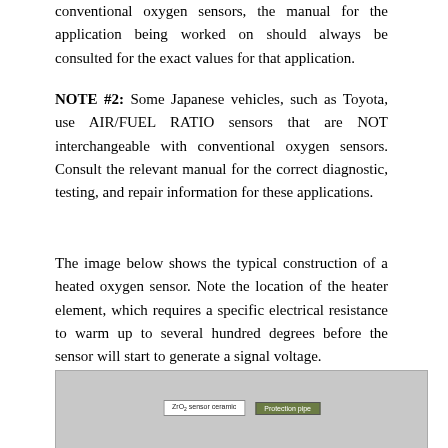conventional oxygen sensors, the manual for the application being worked on should always be consulted for the exact values for that application.
NOTE #2: Some Japanese vehicles, such as Toyota, use AIR/FUEL RATIO sensors that are NOT interchangeable with conventional oxygen sensors. Consult the relevant manual for the correct diagnostic, testing, and repair information for these applications.
The image below shows the typical construction of a heated oxygen sensor. Note the location of the heater element, which requires a specific electrical resistance to warm up to several hundred degrees before the sensor will start to generate a signal voltage.
[Figure (photo): Photograph showing the typical construction of a heated oxygen sensor, with labels indicating the ZrO2 sensor ceramic and protection pipe components.]